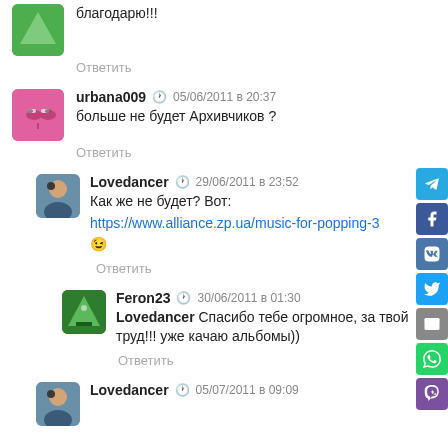благодарю!!!
Ответить
urbana009  05/06/2011 в 20:37
больше не будет Архивчиков ?
Ответить
Lovedancer  29/06/2011 в 23:52
Как же не будет? Вот:
https://www.alliance.zp.ua/music-for-popping-3
😉
Ответить
Feron23  30/06/2011 в 01:30
Lovedancer Спасибо тебе огромное, за твой труд!!! уже качаю альбомы))
Ответить
Lovedancer  05/07/2011 в 09:09